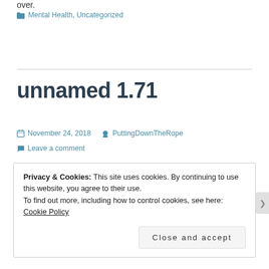over.
Mental Health, Uncategorized
unnamed 1.71
November 24, 2018   PuttingDownTheRope
Leave a comment
Privacy & Cookies: This site uses cookies. By continuing to use this website, you agree to their use.
To find out more, including how to control cookies, see here: Cookie Policy
Close and accept